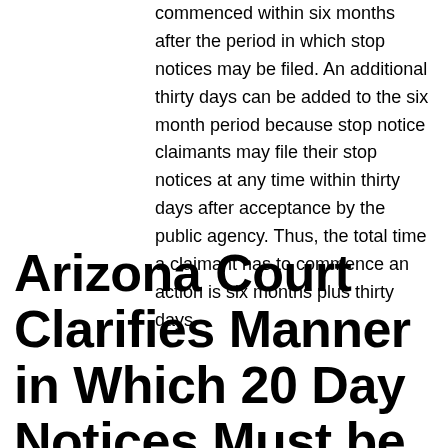commenced within six months after the period in which stop notices may be filed. An additional thirty days can be added to the six month period because stop notice claimants may file their stop notices at any time within thirty days after acceptance by the public agency. Thus, the total time a claimant has to commence an action is six months plus thirty days.
Arizona Court Clarifies Manner in Which 20 Day Notices Must be Served on a State